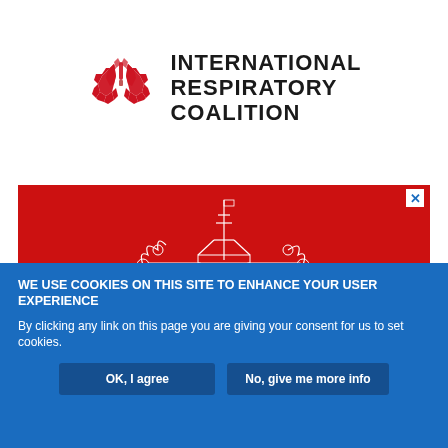[Figure (logo): International Respiratory Coalition logo: red geometric lung illustration on left, bold uppercase text INTERNATIONAL RESPIRATORY COALITION on right]
[Figure (illustration): Red banner advertisement with white line art of a city skyline (appears to be Australian Parliament House / Canberra) and a decorative floral/ornamental arrangement. An X close button appears in the top-right corner.]
WE USE COOKIES ON THIS SITE TO ENHANCE YOUR USER EXPERIENCE
By clicking any link on this page you are giving your consent for us to set cookies.
OK, I agree
No, give me more info